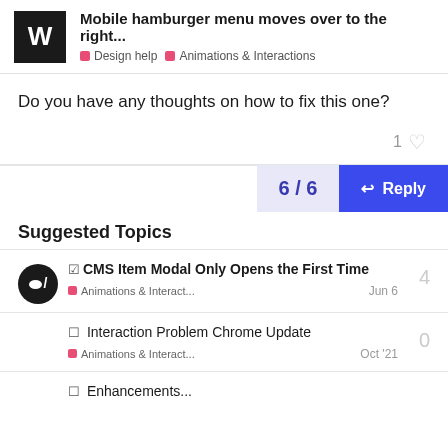Mobile hamburger menu moves over to the right... | Design help | Animations & Interactions
Do you have any thoughts on how to fix this one?
1 ♡
6 / 6
Reply
Suggested Topics
CMS Item Modal Only Opens the First Time | Animations & Interact... | Jun 6 | 4
Interaction Problem Chrome Update | Animations & Interact... | Oct '21 | 0
Enhancements...